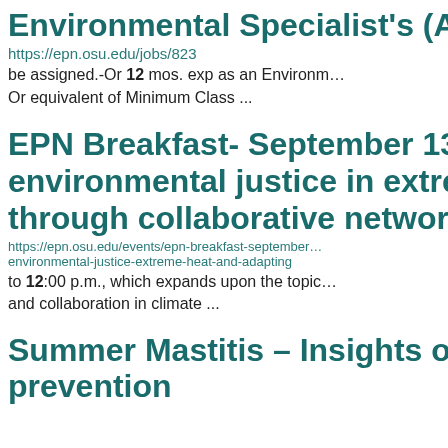Environmental Specialist's (Abund…
https://epn.osu.edu/jobs/823
be assigned.-Or 12 mos. exp as an Environm… Or equivalent of Minimum Class ...
EPN Breakfast- September 13, 2022: environmental justice in extreme he… through collaborative networks
https://epn.osu.edu/events/epn-breakfast-september… environmental-justice-extreme-heat-and-adapting
to 12:00 p.m., which expands upon the topic… and collaboration in climate ...
Summer Mastitis – Insights on cause… prevention